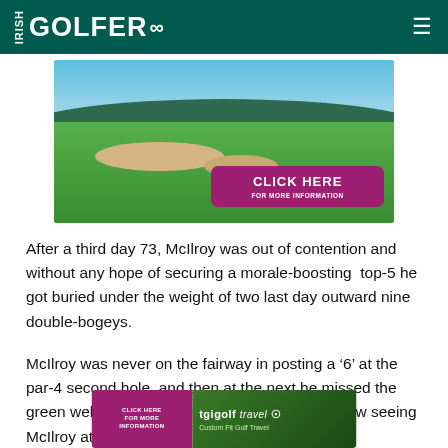IRISH GOLFER
[Figure (photo): Golf course with green fairway, sand bunkers, trees and ocean in background, with a purple 'CLICK HERE FOR MORE INFORMATION' button overlay]
After a third day 73, McIlroy was out of contention and without any hope of securing a morale-boosting top-5 he got buried under the weight of two last day outward nine double-bogeys.
McIlroy was never on the fairway in posting a '6' at the par-4 second hole, and then at the next he missed the green well left in regulation with the bogey '5' now seeing McIlroy at th…
[Figure (screenshot): Bottom advertisement banner: tgigolf travel - Click Here For More Information, Custom Fit Golf Travel]